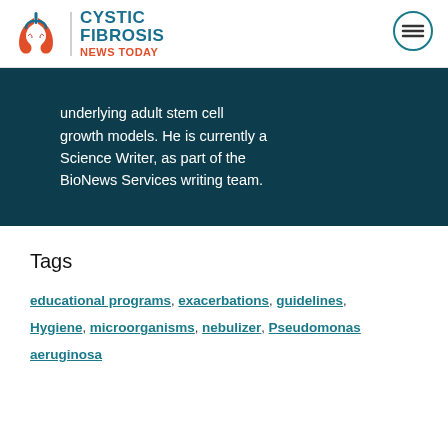CYSTIC FIBROSIS NEWS TODAY
underlying adult stem cell growth models. He is currently a Science Writer, as part of the BioNews Services writing team.
Tags
educational programs, exacerbations, guidelines, Hygiene, microorganisms, nebulizer, Pseudomonas aeruginosa